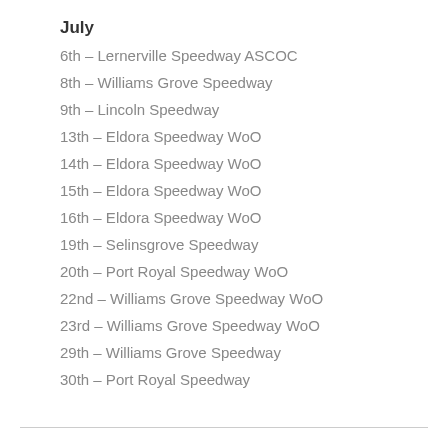July
6th – Lernerville Speedway ASCOC
8th – Williams Grove Speedway
9th – Lincoln Speedway
13th – Eldora Speedway WoO
14th – Eldora Speedway WoO
15th – Eldora Speedway WoO
16th – Eldora Speedway WoO
19th – Selinsgrove Speedway
20th – Port Royal Speedway WoO
22nd – Williams Grove Speedway WoO
23rd – Williams Grove Speedway WoO
29th – Williams Grove Speedway
30th – Port Royal Speedway